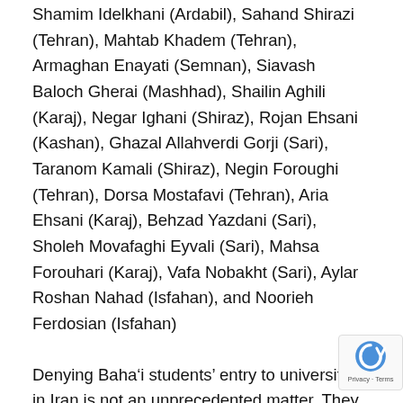Shamim Idelkhani (Ardabil), Sahand Shirazi (Tehran), Mahtab Khadem (Tehran), Armaghan Enayati (Semnan), Siavash Baloch Gherai (Mashhad), Shailin Aghili (Karaj), Negar Ighani (Shiraz), Rojan Ehsani (Kashan), Ghazal Allahverdi Gorji (Sari), Taranom Kamali (Shiraz), Negin Foroughi (Tehran), Dorsa Mostafavi (Tehran), Aria Ehsani (Karaj), Behzad Yazdani (Sari), Sholeh Movafaghi Eyvali (Sari), Mahsa Forouhari (Karaj), Vafa Nobakht (Sari), Aylar Roshan Nahad (Isfahan), and Noorieh Ferdosian (Isfahan)
Denying Baha‘i students’ entry to universities in Iran is not an unprecedented matter. They have been systematically denied access to higher education by the Iranian government. Even dozens of Baha‘is who have successfully passed the national examinations and other hurdles to continue their education at the university level have been forced to drop out, even several years into their programs.